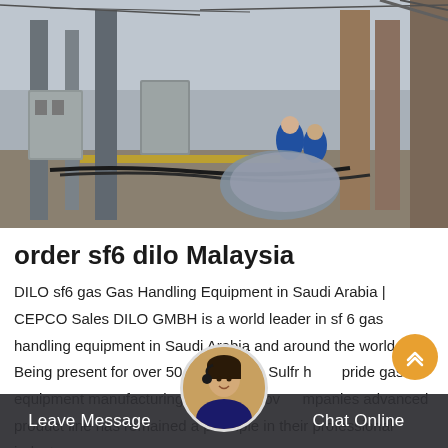[Figure (photo): Industrial electrical substation with large equipment poles, grey metal enclosures, cables on the ground, and workers in blue uniforms working in the background.]
order sf6 dilo Malaysia
DILO sf6 gas Gas Handling Equipment in Saudi Arabia | CEPCO Sales DILO GMBH is a world leader in sf 6 gas handling equipment in Saudi Arabia and around the world. Being present for over 50 years in the Sulfr h pride gas equipment manufacturing business prov mpanies advanced product line has remained a principle in their professional industry.